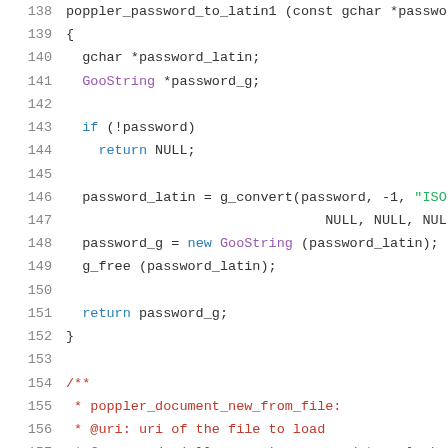[Figure (screenshot): Source code listing showing lines 138-158 of a C/C++ file with syntax highlighting. Lines show the poppler_password_to_latin1 function definition and beginning of a Doxygen comment block for poppler_document_new_from_file.]